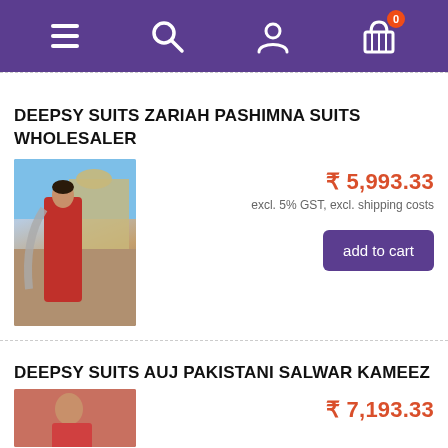[Figure (screenshot): Purple navigation bar with hamburger menu icon, search icon, user/account icon, and shopping cart icon with badge showing 0]
DEEPSY SUITS ZARIAH PASHIMNA SUITS WHOLESALER
[Figure (photo): Woman in red salwar kameez suit with grey dupatta standing on a rooftop with architectural background]
₹ 5,993.33
excl. 5% GST, excl. shipping costs
add to cart
DEEPSY SUITS AUJ PAKISTANI SALWAR KAMEEZ
₹ 7,193.33